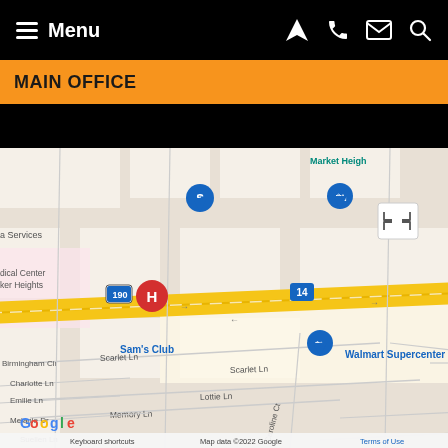Menu
MAIN OFFICE
[Figure (map): Google Maps screenshot centered near Walmart Supercenter on U.S. Hwy 190. Visible landmarks include Sam's Club, Walmart Supercenter, Starbucks, Black Rifle Coffee Company, Vivian Spa and Nail Bar, Medical Center Harker Heights. Streets include Scarlet Ln, Lottie Ln, Memory Ln, Charlotte Ln, Emilie Ln, Melanie Dr, Birmingham Cir, Suellen Ln, Caroline Ct, Shelby Ln, Quapaw Dr, Snake Dance Dr, Shawnee Trail, Mohawk Dr. Highway 190 (U.S. Hwy 190) and highway 14 visible. Red pin marker in center. Google logo and 'Map data ©2022 Google', 'Terms of Use', 'Keyboard shortcuts' in footer.]